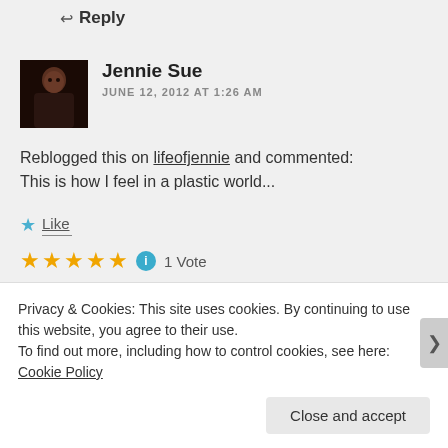↩ Reply
[Figure (photo): Avatar photo of Jennie Sue, a woman in dark clothing against a dark background]
Jennie Sue
JUNE 12, 2012 AT 1:26 AM
Reblogged this on lifeofjennie and commented:
This is how I feel in a plastic world...
★ Like
★★★★★ ℹ 1 Vote
↩ Reply
Privacy & Cookies: This site uses cookies. By continuing to use this website, you agree to their use.
To find out more, including how to control cookies, see here: Cookie Policy
Close and accept